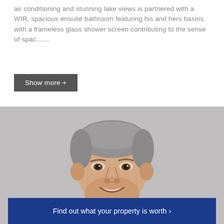air conditioning and stunning lake views is partnered with a WIR, spacious ensuite bathroom featuring his and hers basins with a frameless glass shower screen contributing to the sense of spac.......
Show more +
[Figure (photo): Professional headshot of a middle-aged man with grey hair, smiling, wearing a white shirt, against a light grey background.]
Find out what your property is worth >